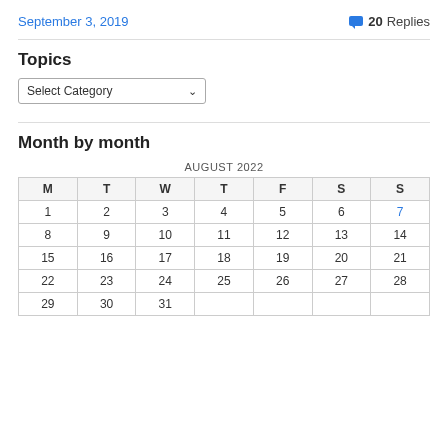September 3, 2019
💬 20 Replies
Topics
Select Category
Month by month
| M | T | W | T | F | S | S |
| --- | --- | --- | --- | --- | --- | --- |
| 1 | 2 | 3 | 4 | 5 | 6 | 7 |
| 8 | 9 | 10 | 11 | 12 | 13 | 14 |
| 15 | 16 | 17 | 18 | 19 | 20 | 21 |
| 22 | 23 | 24 | 25 | 26 | 27 | 28 |
| 29 | 30 | 31 |  |  |  |  |